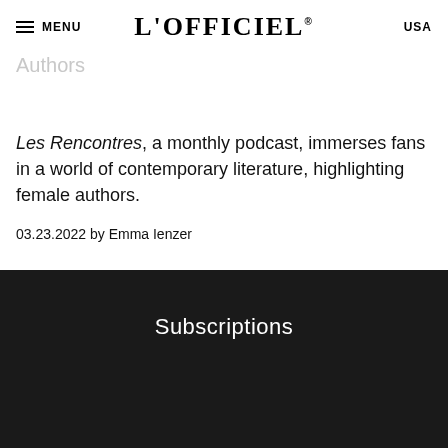MENU | L'OFFICIEL® | USA
Gassel's New Podcast Highlights Female Authors
Les Rencontres, a monthly podcast, immerses fans in a world of contemporary literature, highlighting female authors.
03.23.2022 by Emma Ienzer
◄ 1 2 3 4 5 6 ►
Subscriptions